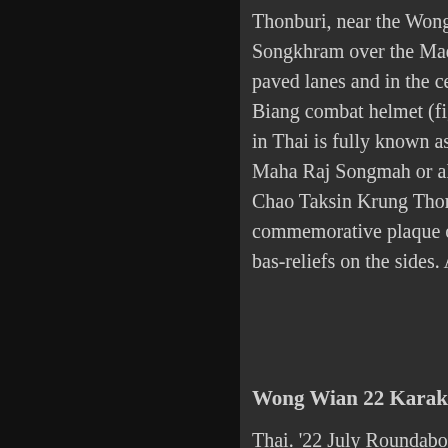Thonburi, near the Wong Wian Yai Train S… Songkhram over the Mae Khlong-Macha… paved lanes and in the centre an equestrian … Biang combat helmet (fig.), a taab (fig.), an… in Thai is fully known as Phra Boromma M… Maha Raj Songmah or alternatively as Phr… Chao Taksin Krung Thonburi, is elevated … commemorative plaque on the front and sc… bas-reliefs on the sides. Also transliterated W…
Wong Wian 22 Karakadakhom (วงเวียน 22 …
Thai. '22 July Roundabout'. Name of a traff… Siam's participation in World War I under … aimed at strengthening his position at ho… arena. The name refers to 22 July 1917, …